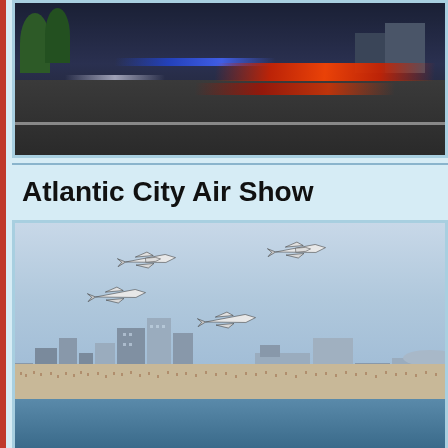[Figure (photo): Night-time highway with long-exposure light streaks from car headlights and taillights. Red and blue streaks visible against dark road and sky with trees and buildings in background.]
Atlantic City Air Show
[Figure (photo): Aerial photograph of four military jet aircraft (Thunderbirds) flying in diamond formation over the Atlantic City coastline. Below is the Atlantic City skyline with casinos and convention center, crowded beach, and ocean in foreground.]